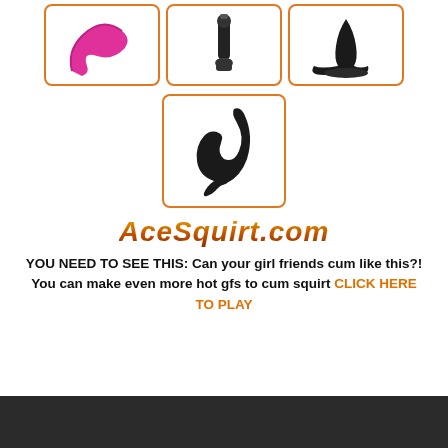[Figure (photo): Three product images in boxes with orange borders: pink curved vibrator, black wand vibrator, black anal plug]
[Figure (photo): Single product image in orange-bordered box: black prostate massager curved shape]
[Figure (logo): AceSquirt.com logo in orange/gold italic bold text]
YOU NEED TO SEE THIS: Can your girl friends cum like this?! You can make even more hot gfs to cum squirt CLICK HERE TO PLAY